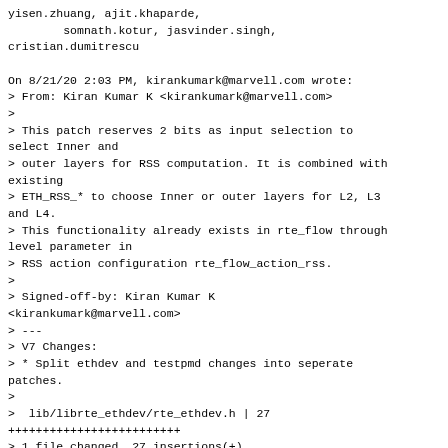yisen.zhuang, ajit.khaparde,
        somnath.kotur, jasvinder.singh,
cristian.dumitrescu

On 8/21/20 2:03 PM, kirankumark@marvell.com wrote:
> From: Kiran Kumar K <kirankumark@marvell.com>
>
> This patch reserves 2 bits as input selection to select Inner and
> outer layers for RSS computation. It is combined with existing
> ETH_RSS_* to choose Inner or outer layers for L2, L3 and L4.
> This functionality already exists in rte_flow through level parameter in
> RSS action configuration rte_flow_action_rss.
>
> Signed-off-by: Kiran Kumar K <kirankumark@marvell.com>
> ---
> V7 Changes:
> * Split ethdev and testpmd changes into seperate patches.
>
>  lib/librte_ethdev/rte_ethdev.h | 27
> +++++++++++++++++++++++++
> 1 file changed, 27 insertions(+)
>
> diff --git a/lib/librte_ethdev/rte_ethdev.h b/lib/librte_ethdev/rte_ethdev.h